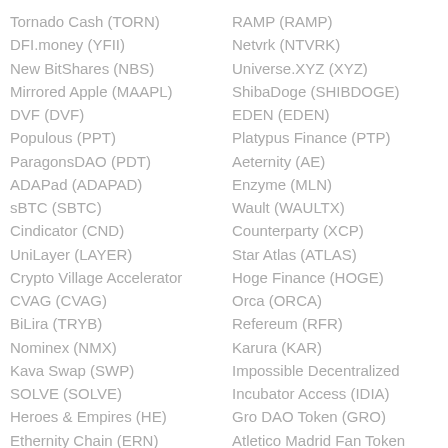Tornado Cash (TORN)
DFI.money (YFII)
New BitShares (NBS)
Mirrored Apple (MAAPL)
DVF (DVF)
Populous (PPT)
ParagonsDAO (PDT)
ADAPad (ADAPAD)
sBTC (SBTC)
Cindicator (CND)
UniLayer (LAYER)
Crypto Village Accelerator
CVAG (CVAG)
BiLira (TRYB)
Nominex (NMX)
Kava Swap (SWP)
SOLVE (SOLVE)
Heroes & Empires (HE)
Ethernity Chain (ERN)
RAMP (RAMP)
Netvrk (NTVRK)
Universe.XYZ (XYZ)
ShibaDoge (SHIBDOGE)
EDEN (EDEN)
Platypus Finance (PTP)
Aeternity (AE)
Enzyme (MLN)
Wault (WAULTX)
Counterparty (XCP)
Star Atlas (ATLAS)
Hoge Finance (HOGE)
Orca (ORCA)
Refereum (RFR)
Karura (KAR)
Impossible Decentralized Incubator Access (IDIA)
Gro DAO Token (GRO)
Atletico Madrid Fan Token